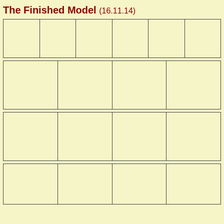The Finished Model (16.11.14)
[Figure (other): Grid layout row 1: 6 empty cells arranged in a horizontal row with borders]
[Figure (other): Grid layout row 2: 4 empty cells arranged in a horizontal row with borders]
[Figure (other): Grid layout row 3: 4 empty cells arranged in a horizontal row with borders]
[Figure (other): Grid layout row 4: 4 empty cells arranged in a horizontal row with borders (partially visible)]